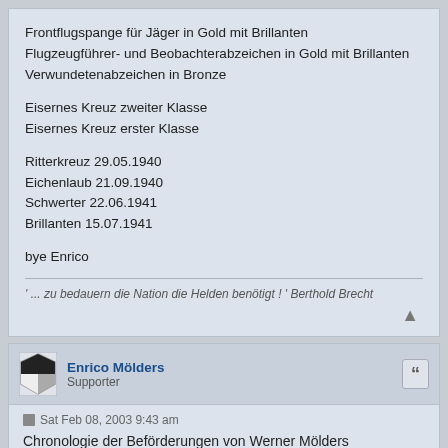Frontflugspange für Jäger in Gold mit Brillanten
Flugzeugführer- und Beobachterabzeichen in Gold mit Brillanten
Verwundetenabzeichen in Bronze
Eisernes Kreuz zweiter Klasse
Eisernes Kreuz erster Klasse
Ritterkreuz 29.05.1940
Eichenlaub 21.09.1940
Schwerter 22.06.1941
Brilanten 15.07.1941
bye Enrico
' ... zu bedauern die Nation die Helden benötigt ! ' Berthold Brecht
Enrico Mölders
Supporter
Sat Feb 08, 2003 9:43 am
Chronologie der Beförderungen von Werner Mölders